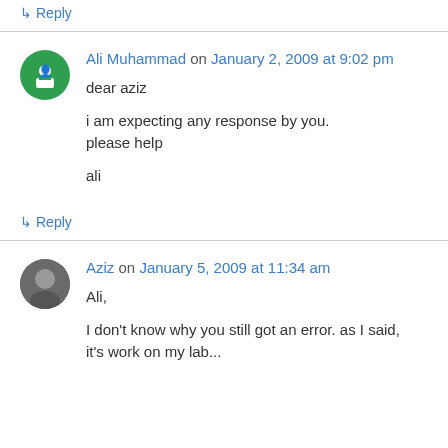↳ Reply
Ali Muhammad on January 2, 2009 at 9:02 pm

dear aziz

i am expecting any response by you.
please help

ali
↳ Reply
Aziz on January 5, 2009 at 11:34 am

Ali,

I don't know why you still got an error. as I said, it's work on my lab...